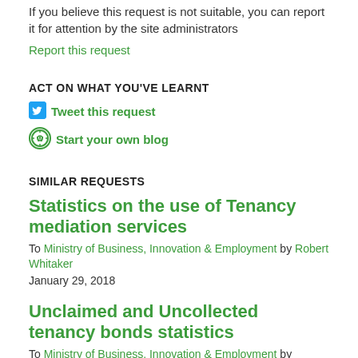If you believe this request is not suitable, you can report it for attention by the site administrators
Report this request
ACT ON WHAT YOU'VE LEARNT
Tweet this request
Start your own blog
SIMILAR REQUESTS
Statistics on the use of Tenancy mediation services
To Ministry of Business, Innovation & Employment by Robert Whitaker
January 29, 2018
Unclaimed and Uncollected tenancy bonds statistics
To Ministry of Business, Innovation & Employment by willifreger